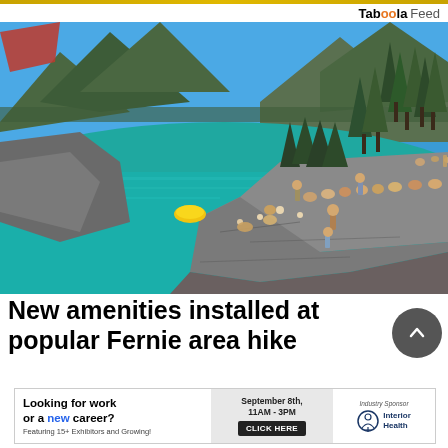Taboola Feed
[Figure (photo): Outdoor scene at a mountain lake with turquoise water. People sunbathing and relaxing on rocky cliff ledges. Trees and mountain peaks visible in background under blue sky. A yellow inflatable float visible in the water.]
New amenities installed at popular Fernie area hike
[Figure (infographic): Advertisement banner: Looking for work or a new career? Featuring 15+ Exhibitors and Growing! September 8th, 11AM - 3PM. CLICK HERE. Industry Sponsor: Interior Health logo.]